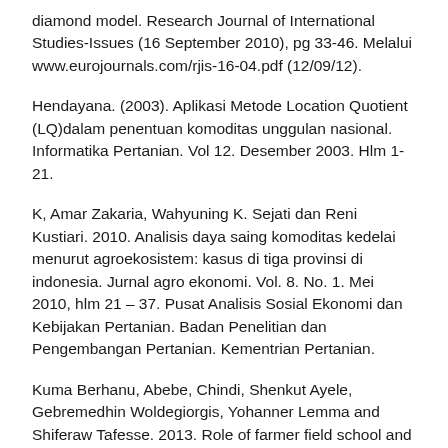diamond model. Research Journal of International Studies-Issues (16 September 2010), pg 33-46. Melalui www.eurojournals.com/rjis-16-04.pdf (12/09/12).
Hendayana. (2003). Aplikasi Metode Location Quotient (LQ)dalam penentuan komoditas unggulan nasional. Informatika Pertanian. Vol 12. Desember 2003. Hlm 1-21.
K, Amar Zakaria, Wahyuning K. Sejati dan Reni Kustiari. 2010. Analisis daya saing komoditas kedelai menurut agroekosistem: kasus di tiga provinsi di indonesia. Jurnal agro ekonomi. Vol. 8. No. 1. Mei 2010, hlm 21 – 37. Pusat Analisis Sosial Ekonomi dan Kebijakan Pertanian. Badan Penelitian dan Pengembangan Pertanian. Kementrian Pertanian.
Kuma Berhanu, Abebe, Chindi, Shenkut Ayele, Gebremedhin Woldegiorgis, Yohanner Lemma and Shiferaw Tafesse. 2013. Role of farmer field school and farmer research group in bringing attitudinal